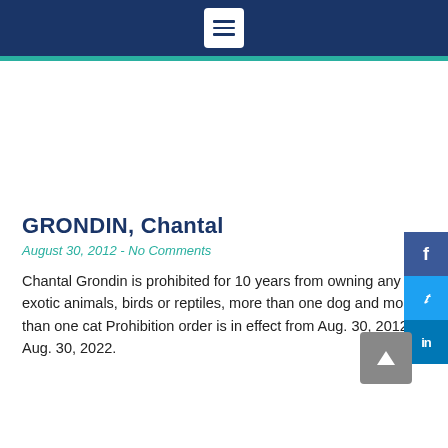Menu icon / navigation header
GRONDIN, Chantal
August 30, 2012 - No Comments
Chantal Grondin is prohibited for 10 years from owning any exotic animals, birds or reptiles, more than one dog and more than one cat Prohibition order is in effect from Aug. 30, 2012 to Aug. 30, 2022.